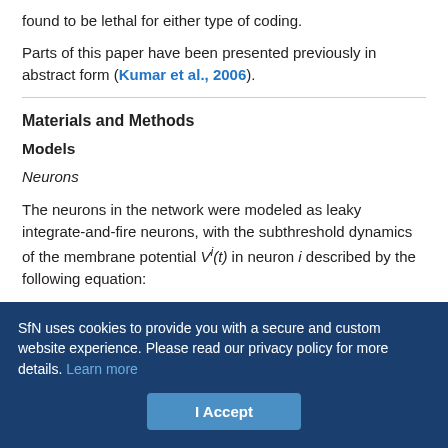found to be lethal for either type of coding.
Parts of this paper have been presented previously in abstract form (Kumar et al., 2006).
Materials and Methods
Models
Neurons
The neurons in the network were modeled as leaky integrate-and-fire neurons, with the subthreshold dynamics of the membrane potential Vi(t) in neuron i described by the following equation:
SfN uses cookies to provide you with a secure and custom website experience. Please read our privacy policy for more details. Learn more